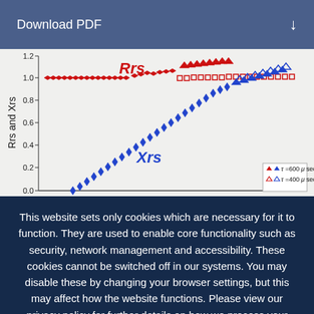Download PDF
[Figure (continuous-plot): Scatter plot showing Rrs and Xrs (y-axis, ranging from 0.0 to 1.2) vs x-axis data points. Red markers form a near-flat line around 1.0 labeled 'Rrs'. Blue markers rise from 0.0 to ~1.1 labeled 'Xrs'. Legend shows filled/open triangles for tau=600 microsec and tau=400 microsec in red and blue.]
This website sets only cookies which are necessary for it to function. They are used to enable core functionality such as security, network management and accessibility. These cookies cannot be switched off in our systems. You may disable these by changing your browser settings, but this may affect how the website functions. Please view our privacy policy for further details on how we process your information. Dismiss